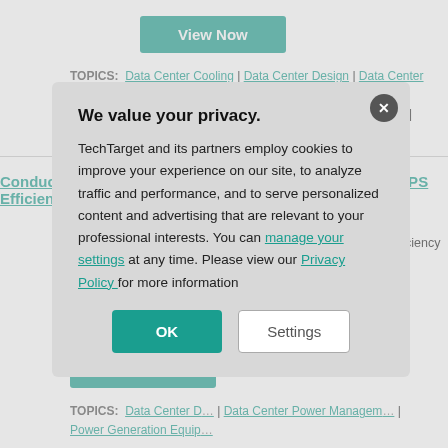[Figure (other): View Now button (teal/green rounded rectangle)]
TOPICS: Data Center Cooling | Data Center Design | Data Center Infrastructure Efficiency | Data Center Management | Data Center Power Management | Data Centers | Power Blackouts | Power Su...
Conducting an Accurate Utility Cost Analysis Based on UPS Efficiency
sponsored by Emerson Network Power
WHITE PAPER: Explore this resource to learn what UPS efficiency ratings mean for capacity utilization and... your data centre by...
Posted: 25 Jun 201...
[Figure (other): View Now button (teal/green rounded rectangle)]
TOPICS: Data Center D... | Data Center Power Managem... | ... | Power Generation Equip...
Powering Converged...
sponsored by Eaton...
WHITE PAPER: Thi... be accompanied with a power protection plan.
We value your privacy.
TechTarget and its partners employ cookies to improve your experience on our site, to analyze traffic and performance, and to serve personalized content and advertising that are relevant to your professional interests. You can manage your settings at any time. Please view our Privacy Policy for more information